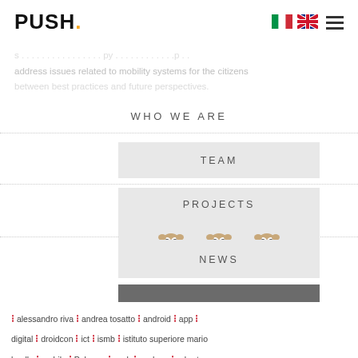PUSH.
address issues related to mobility systems for the citizens between best practices and future perspectives.
WHO WE ARE
TEAM
PROJECTS
[Figure (illustration): Three cartoon owl characters]
NEWS
⁝ alessandro riva ⁝ andrea tosatto ⁝ android ⁝ app ⁝ digital ⁝ droidcon ⁝ ict ⁝ ismb ⁝ istituto superiore mario boella ⁝ mobile ⁝ Palermo ⁝ push ⁝ pushers ⁝ roberto